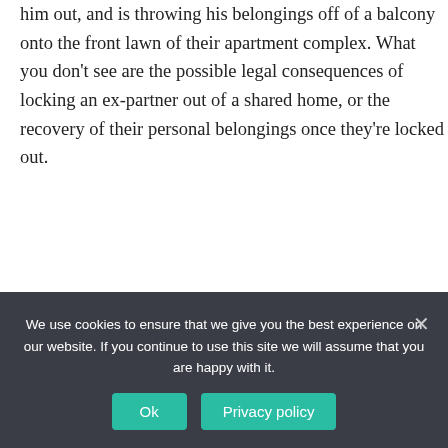him out, and is throwing his belongings off of a balcony onto the front lawn of their apartment complex. What you don't see are the possible legal consequences of locking an ex-partner out of a shared home, or the recovery of their personal belongings once they're locked out.
Share via:
[Figure (other): Row of social media sharing icons: Facebook (blue), Twitter (blue), Reddit (orange-red), Email (dark blue), Messenger (blue), WhatsApp (green), Telegram (light blue), Share/More (blue)]
Share
We use cookies to ensure that we give you the best experience on our website. If you continue to use this site we will assume that you are happy with it.
Ok   Privacy policy